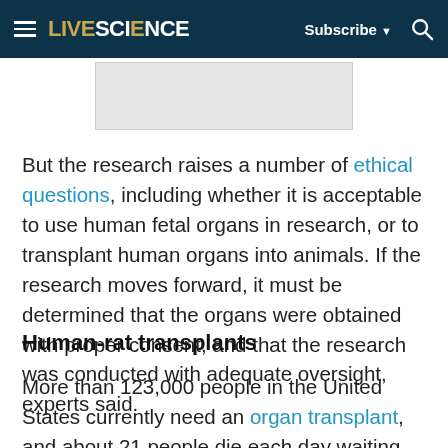LIVESCIENCE — Subscribe — Search
[Figure (other): Grey advertisement placeholder banner]
But the research raises a number of ethical questions, including whether it is acceptable to use human fetal organs in research, or to transplant human organs into animals. If the research moves forward, it must be determined that the organs were obtained with proper consent, and that the research was conducted with adequate oversight, experts said.
Human-rat transplants
More than 123,000 people in the United States currently need an organ transplant, and about 21 people die each day waiting for one, according to the